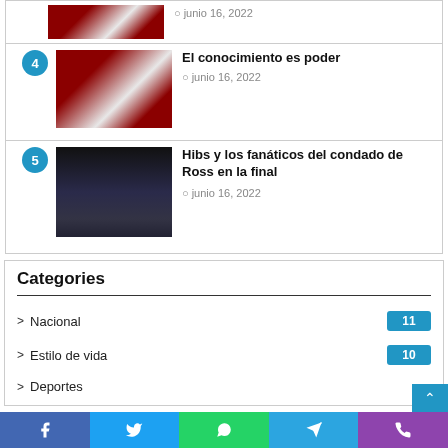junio 16, 2022
[Figure (photo): Crowd waving red and white flags]
El conocimiento es poder
junio 16, 2022
[Figure (photo): Marina with boats at night]
Hibs y los fanáticos del condado de Ross en la final
junio 16, 2022
Categories
Nacional 11
Estilo de vida 10
Deportes